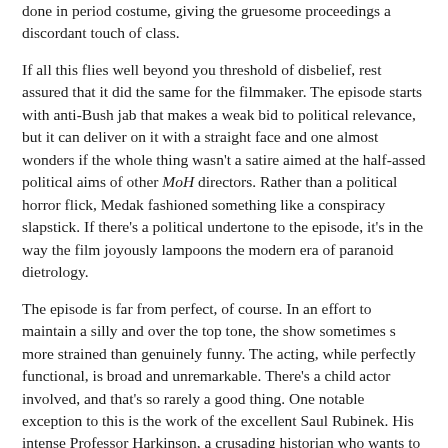done in period costume, giving the gruesome proceedings a discordant touch of class.
If all this flies well beyond you threshold of disbelief, rest assured that it did the same for the filmmaker. The episode starts with anti-Bush jab that makes a weak bid to political relevance, but it can deliver on it with a straight face and one almost wonders if the whole thing wasn't a satire aimed at the half-assed political aims of other MoH directors. Rather than a political horror flick, Medak fashioned something like a conspiracy slapstick. If there's a political undertone to the episode, it's in the way the film joyously lampoons the modern era of paranoid dietrology.
The episode is far from perfect, of course. In an effort to maintain a silly and over the top tone, the show sometimes s more strained than genuinely funny. The acting, while perfectly functional, is broad and unremarkable. There's a child actor involved, and that's so rarely a good thing. One notable exception to this is the work of the excellent Saul Rubinek. His intense Professor Harkinson, a crusading historian who wants to use the family's discovery to destroy the Washingtonians, appears way to late in the flick for my taste. Finally, while there are some gross-out moments and hints of